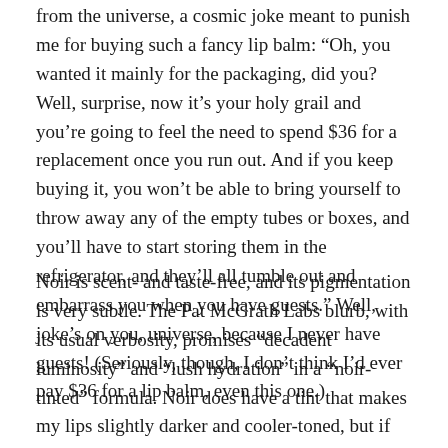from the universe, a cosmic joke meant to punish me for buying such a fancy lip balm: “Oh, you wanted it mainly for the packaging, did you? Well, surprise, now it’s your holy grail and you’re going to feel the need to spend $36 for a replacement once you run out. And if you keep buying it, you won’t be able to bring yourself to throw away any of the empty tubes or boxes, and you’ll have to start storing them in the refrigerator, and they’ll all tumble out and embarrass you when you have guests.” Well, joke’s on you, universe, because I never have guests! (Seriously, though, I don’t think I’d ever pay $36 for a lip balm, even this one.)
Noir is scent- and taste-free, and its pigmentation is very subtle. The Pat McGrath Labs blurb, with its usual verbosity, promises “decadent luminosity” and “lush hydration” in a “noir-tinted” formula. Noir does have a tint that makes my lips slightly darker and cooler-toned, but if you saw me on the street, you’d have no reason to